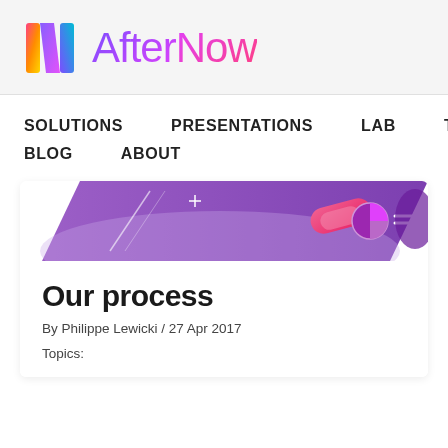[Figure (logo): AfterNow logo with colorful N icon and gradient text 'AfterNow']
SOLUTIONS    PRESENTATIONS    LAB    TUTORIALS
BLOG    ABOUT
[Figure (illustration): Purple banner illustration with abstract geometric shapes, pie chart icon, and decorative elements]
Our process
By Philippe Lewicki / 27 Apr 2017
Topics: